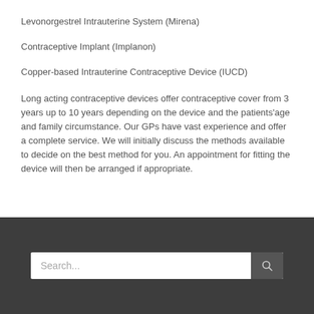Levonorgestrel Intrauterine System (Mirena)
Contraceptive Implant (Implanon)
Copper-based Intrauterine Contraceptive Device (IUCD)
Long acting contraceptive devices offer contraceptive cover from 3 years up to 10 years depending on the device and the patients'age and family circumstance. Our GPs have vast experience and offer a complete service. We will initially discuss the methods available to decide on the best method for you. An appointment for fitting the device will then be arranged if appropriate.
Search...